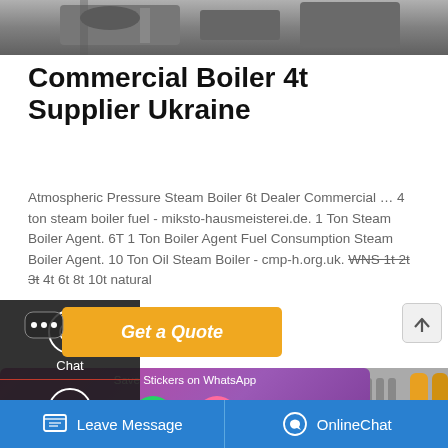[Figure (photo): Top portion of industrial boiler equipment photo, cropped at top of page]
Commercial Boiler 4t Supplier Ukraine
Atmospheric Pressure Steam Boiler 6t Dealer Commercial … 4 ton steam boiler fuel - miksto-hausmeisterei.de. 1 Ton Steam Boiler Agent. 6T 1 Ton Boiler Agent Fuel Consumption Steam Boiler Agent. 10 Ton Oil Steam Boiler - cmp-h.org.uk. WNS 1t 2t 3t 4t 6t 8t 10t natural
[Figure (screenshot): Left sidebar with Chat, Email, and Contact options on dark background]
[Figure (infographic): Get a Quote button in yellow/orange]
[Figure (infographic): Save Stickers on WhatsApp banner with purple/pink gradient and WhatsApp icons]
[Figure (photo): Industrial piping and yellow cylinders photo strip]
[Figure (screenshot): Bottom blue bar with Leave Message and OnlineChat buttons]